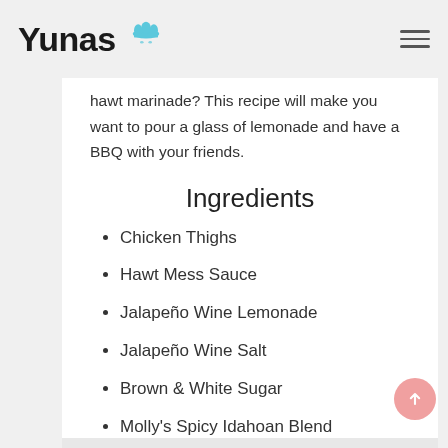Yunas
hawt marinade? This recipe will make you want to pour a glass of lemonade and have a BBQ with your friends.
Ingredients
Chicken Thighs
Hawt Mess Sauce
Jalapeño Wine Lemonade
Jalapeño Wine Salt
Brown & White Sugar
Molly's Spicy Idahoan Blend